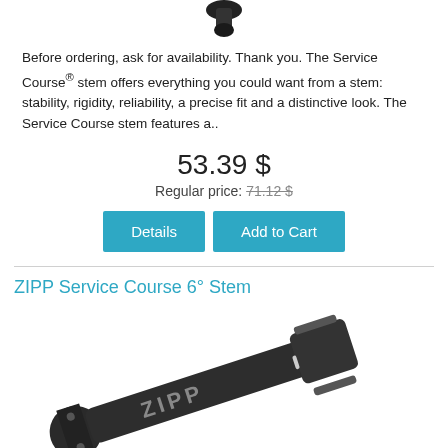[Figure (photo): Top portion of a bicycle stem product photo, partially cropped at top]
Before ordering, ask for availability. Thank you. The Service Course® stem offers everything you could want from a stem: stability, rigidity, reliability, a precise fit and a distinctive look. The Service Course stem features a..
53.39 $
Regular price: 71.12 $
[Figure (other): Two buttons: Details and Add to Cart]
ZIPP Service Course 6° Stem
[Figure (photo): ZIPP Service Course 6 degree stem product photo, dark/black stem with ZIPP branding]